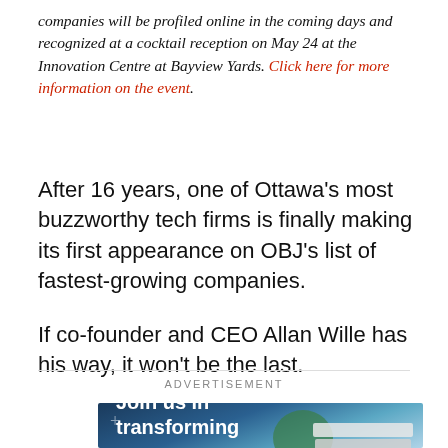companies will be profiled online in the coming days and recognized at a cocktail reception on May 24 at the Innovation Centre at Bayview Yards. Click here for more information on the event.
After 16 years, one of Ottawa’s most buzzworthy tech firms is finally making its first appearance on OBJ’s list of fastest-growing companies.
If co-founder and CEO Allan Wille has his way, it won’t be the last.
ADVERTISEMENT
[Figure (photo): Advertisement banner image with blue gradient background, a tree, stacked books on the right, and the text 'Join us in transforming']